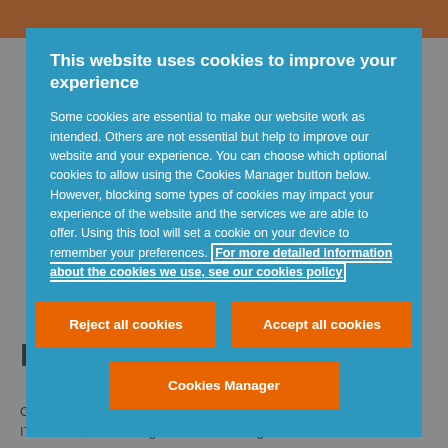This website uses cookies to improve your experience
Some cookies are essential to make our website work as intended. Others are not essential but help to improve our website and your experience. You can choose which optional cookies to allow using the Cookies Manager button below. However, blocking some types of cookies may impact your experience of the website and the services we are able to offer. Using this tool will set a cookie on your device to remember your preferences. For more detailed information about the cookies we use, see our cookies policy
Reject all cookies
Accept all cookies
Cookies Manager
Deep sector knowledge
Over the years, our brand has become synonymous with the world of IT and data, with a range of services designed